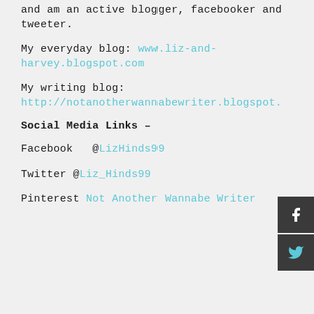and am an active blogger, facebooker and tweeter.
My everyday blog: www.liz-and-harvey.blogspot.com
My writing blog: http://notanotherwannabewriter.blogspot.
Social Media Links –
Facebook @LizHinds99
Twitter @Liz_Hinds99
Pinterest Not Another Wannabe Writer
[Figure (other): Facebook and Twitter social media icon buttons on the right side]